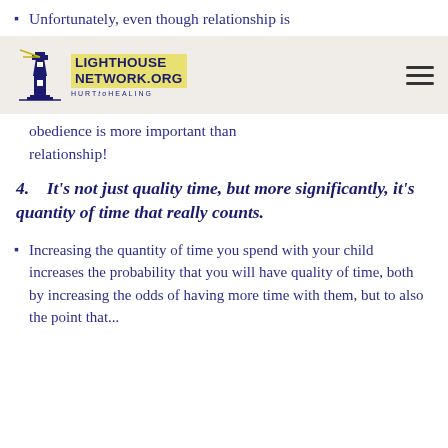Unfortunately, even though relationship is
LIGHTHOUSE NETWORK.ORG HURT to HEALING
obedience is more important than relationship!
4.    It's not just quality time, but more significantly, it's quantity of time that really counts.
Increasing the quantity of time you spend with your child increases the probability that you will have quality of time, both by increasing the odds of having more time with them, but to also the point that...